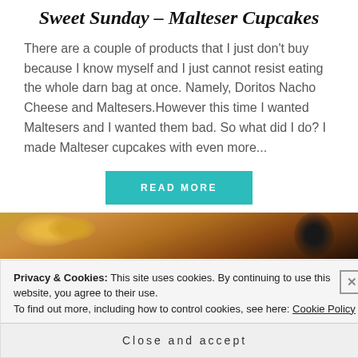Sweet Sunday – Malteser Cupcakes
There are a couple of products that I just don't buy because I know myself and I just cannot resist eating the whole darn bag at once. Namely, Doritos Nacho Cheese and Maltesers.However this time I wanted Maltesers and I wanted them bad. So what did I do? I made Malteser cupcakes with even more...
READ MORE
[Figure (photo): Food photo showing pasta or similar dish in a bowl/pan, partially visible behind cookie banner]
Privacy & Cookies: This site uses cookies. By continuing to use this website, you agree to their use.
To find out more, including how to control cookies, see here: Cookie Policy
Close and accept